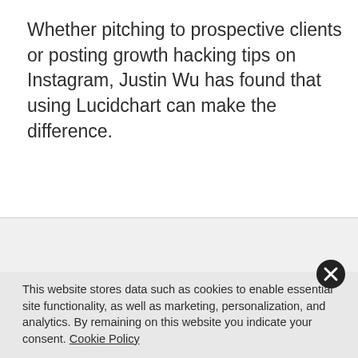Whether pitching to prospective clients or posting growth hacking tips on Instagram, Justin Wu has found that using Lucidchart can make the difference.
[Figure (other): Orange 'Contact sales' button with rounded corners]
This website stores data such as cookies to enable essential site functionality, as well as marketing, personalization, and analytics. By remaining on this website you indicate your consent. Cookie Policy